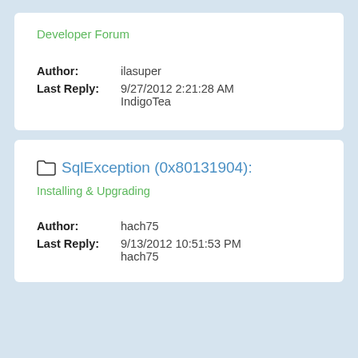Developer Forum
Author: ilasuper
Last Reply: 9/27/2012 2:21:28 AM IndigoTea
SqlException (0x80131904):
Installing & Upgrading
Author: hach75
Last Reply: 9/13/2012 10:51:53 PM hach75